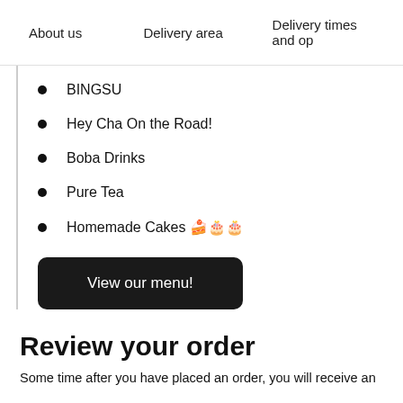About us    Delivery area    Delivery times and op
BINGSU
Hey Cha On the Road!
Boba Drinks
Pure Tea
Homemade Cakes 🍰🎂🎂
View our menu!
Review your order
Some time after you have placed an order, you will receive an